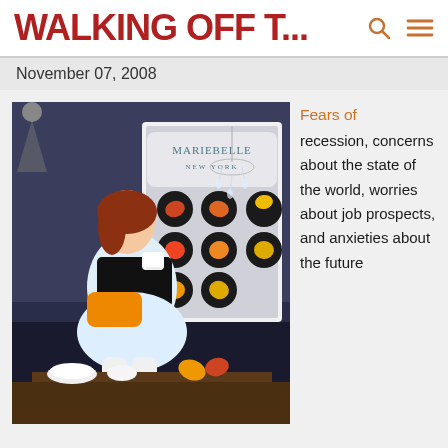WALKING OFF T...
November 07, 2008
[Figure (photo): MarieBelle New York store window display with a mannequin sitting elegantly holding a cup, dressed in black with an orange pillow, surrounded by decorative autumn leaf chocolates in round frames and a chandelier inside the shop window.]
Fears of recession, concerns about the state of the world, worries about job prospects, and anxieties about the future